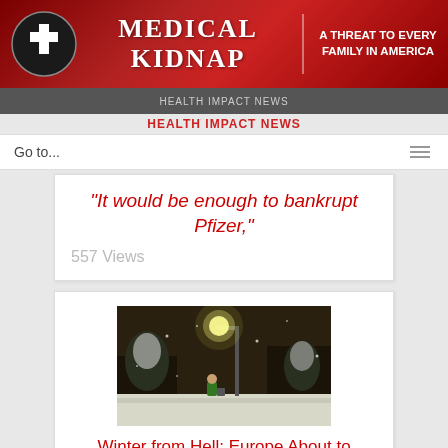[Figure (screenshot): Medical Kidnap website header banner with red background, cross logo, title 'Medical Kidnap' and tagline 'A Threat to Every Family in America']
Medical Kidnap | A Threat to Every Family in America
Go to...
"It would be enough to bankrupt Pfizer,"
557 Views
[Figure (photo): Night scene of a snowy street with street light illuminating snow-covered trees and a person in a green jacket]
Winter from Hell: Europe About to Descend into Chaos as Millions Could Die
176 Views